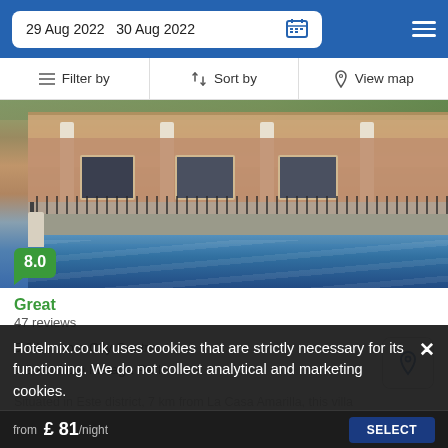29 Aug 2022  30 Aug 2022
Filter by  Sort by  View map
[Figure (photo): Exterior photo of a villa with white columns, terracotta brick facade, balcony with black iron railings, and a blue swimming pool in the foreground. Score badge showing 8.0 in green.]
Great
47 reviews
5.8 km from City Centre
2.2 km from Malaga Park
Situated in Este district, 7 km from La Casa Amarilla, this villa
Hotelmix.co.uk uses cookies that are strictly necessary for its functioning. We do not collect analytical and marketing cookies.
from £ 81 /night  SELECT